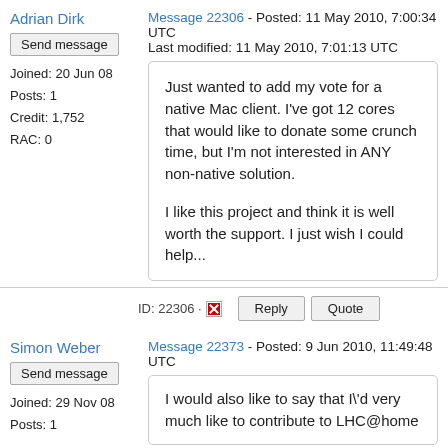Adrian Dirk
Send message
Joined: 20 Jun 08
Posts: 1
Credit: 1,752
RAC: 0
Message 22306 - Posted: 11 May 2010, 7:00:34 UTC
Last modified: 11 May 2010, 7:01:13 UTC
Just wanted to add my vote for a native Mac client. I've got 12 cores that would like to donate some crunch time, but I'm not interested in ANY non-native solution.

I like this project and think it is well worth the support. I just wish I could help...
ID: 22306 · Reply Quote
Simon Weber
Send message
Joined: 29 Nov 08
Posts: 1
Message 22373 - Posted: 9 Jun 2010, 11:49:48 UTC
I would also like to say that I\'d very much like to contribute to LHC@home